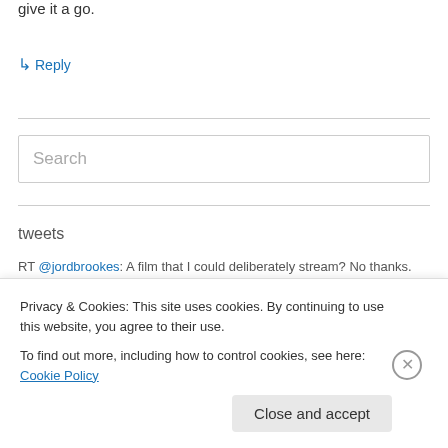give it a go.
↳ Reply
Search
tweets
RT @jordbrookes: A film that I could deliberately stream? No thanks.
Privacy & Cookies: This site uses cookies. By continuing to use this website, you agree to their use. To find out more, including how to control cookies, see here: Cookie Policy
Close and accept